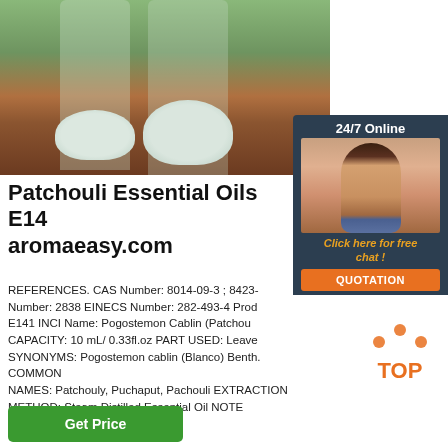[Figure (photo): Photo of glass vials/bottles with white cotton-like material on a wooden surface with green background]
[Figure (infographic): 24/7 Online chat widget with customer service representative photo, 'Click here for free chat!' link, and orange QUOTATION button]
Patchouli Essential Oils E14 aromaeasy.com
REFERENCES. CAS Number: 8014-09-3 ; 8423- Number: 2838 EINECS Number: 282-493-4 Prod E141 INCI Name: Pogostemon Cablin (Patchou CAPACITY: 10 mL/ 0.33fl.oz PART USED: Leave SYNONYMS: Pogostemon cablin (Blanco) Benth. COMMON NAMES: Patchouly, Puchaput, Pachouli EXTRACTION METHOD: Steam Distilled Essential Oil NOTE CLASSIFICATION: …
[Figure (logo): TOP badge/logo with orange dots arranged in arc pattern above orange TOP text]
Get Price